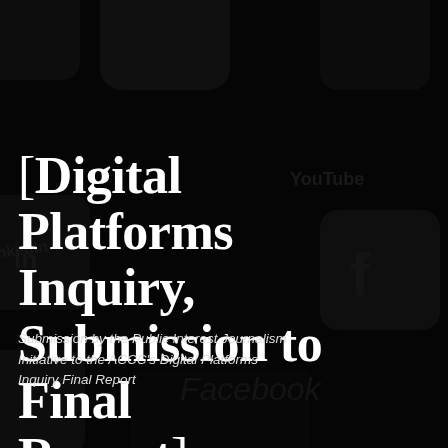[Figure (photo): Dark background photo of social media app icons (LinkedIn, YouTube, Facebook) viewed from above on a dark surface, used as a cover page background image]
[Digital Platforms Inquiry, Submission to Final Report]
Submission by the Public Interest Journalism Initiative to the ACCC's Digital Platforms Inquiry Final Report